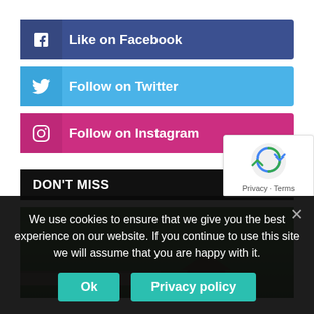[Figure (screenshot): Social media follow buttons: Like on Facebook (blue-purple), Follow on Twitter (light blue), Follow on Instagram (pink/magenta)]
DON'T MISS
[Figure (photo): Outdoor garden photo with stone wall and small wooden house/structure, green foliage in background]
[Figure (screenshot): reCAPTCHA badge with Privacy and Terms links]
We use cookies to ensure that we give you the best experience on our website. If you continue to use this site we will assume that you are happy with it.